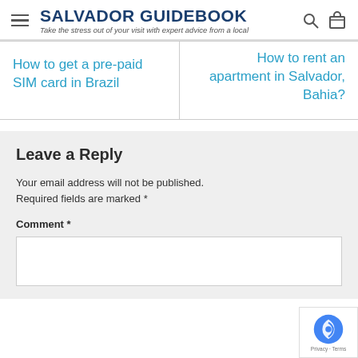SALVADOR GUIDEBOOK — Take the stress out of your visit with expert advice from a local
How to get a pre-paid SIM card in Brazil
How to rent an apartment in Salvador, Bahia?
Leave a Reply
Your email address will not be published. Required fields are marked *
Comment *